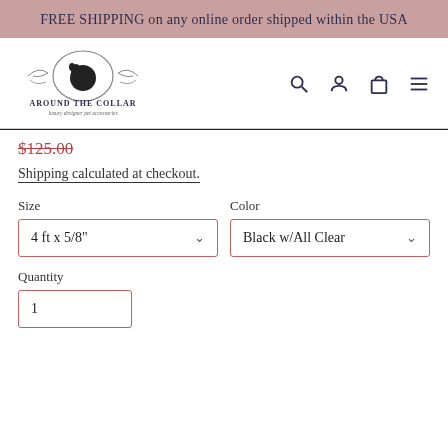FREE SHIPPING on any online order shipped within the USA
[Figure (logo): Around The Collar logo with dog silhouette and decorative scrollwork, text 'AROUND THE COLLAR' and tagline 'luxury designer pet accessories']
$125.00
Shipping calculated at checkout.
Size
4 ft x 5/8"
Color
Black w/All Clear
Quantity
1